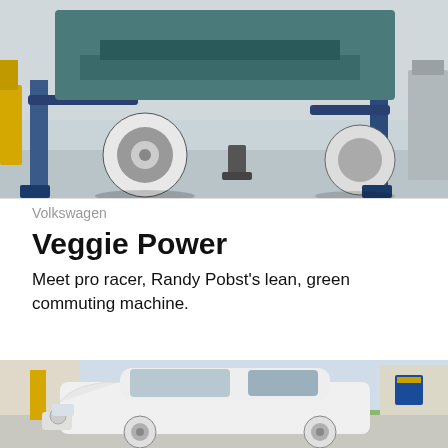[Figure (photo): Car lifted on a hydraulic hoist in a garage/auto shop, viewed from the front showing the undercarriage, wheels, and blue lift arms. Yellow equipment visible in background.]
Volkswagen
Veggie Power
Meet pro racer, Randy Pobst's lean, green commuting machine.
[Figure (photo): White Volkswagen Jetta sedan parked at a gas station. Blue Chevron pump visible in background along with green grass and blue sky.]